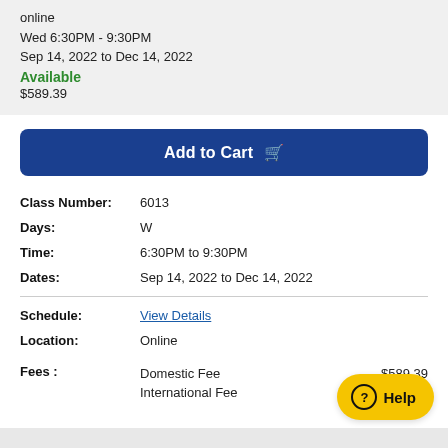online
Wed 6:30PM - 9:30PM
Sep 14, 2022 to Dec 14, 2022
Available
$589.39
Add to Cart
Class Number: 6013
Days: W
Time: 6:30PM to 9:30PM
Dates: Sep 14, 2022 to Dec 14, 2022
Schedule: View Details
Location: Online
Fees: Domestic Fee $589.39 / International Fee $[obscured]